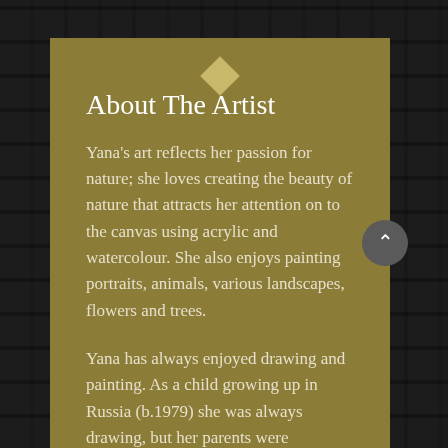About The Artist
Yana's art reflects her passion for nature; she loves creating the beauty of nature that attracts her attention on to the canvas using acrylic and watercolour. She also enjoys painting portraits, animals, various landscapes, flowers and trees.
Yana has always enjoyed drawing and painting. As a child growing up in Russia (b.1979) she was always drawing, but her parents were academics and didn't see art as a profession, so they sent her to accounting school! Thus, her love of drawing was put to one side for many years.
In 2008 Yana moved with her husband to